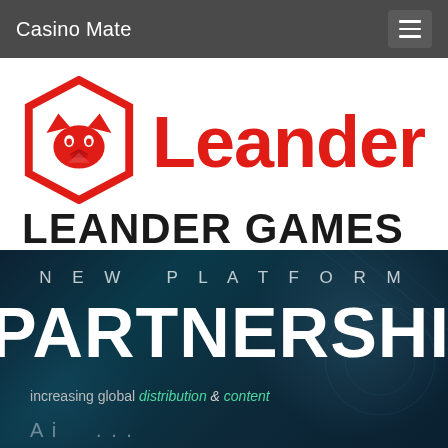Casino Mate
[Figure (logo): Leander Games logo: red hexagon with stylized fox face icon and red 'Leander' text, with 'LEANDER GAMES' in black below]
[Figure (photo): Dark blue promotional banner with text 'NEW PLATFORM PARTNERSHIP' in large white letters and 'increasing global distribution & content' in smaller text with 'distribution & content' highlighted in green/teal]